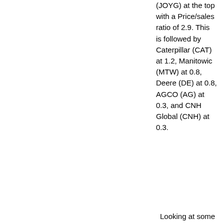(JOYG) at the top with a Price/sales ratio of 2.9. This is followed by Caterpillar (CAT) at 1.2, Manitowic (MTW) at 0.8, Deere (DE) at 0.8, AGCO (AG) at 0.3, and CNH Global (CNH) at 0.3.
Looking at some